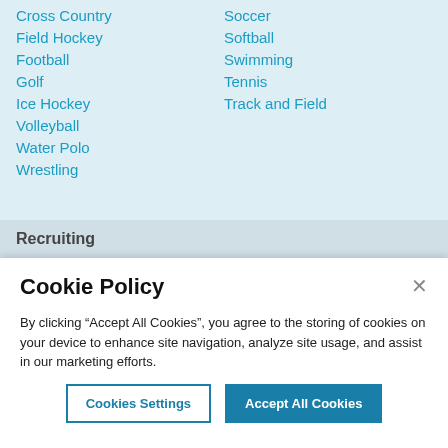Cross Country
Field Hockey
Football
Golf
Ice Hockey
Volleyball
Water Polo
Wrestling
Soccer
Softball
Swimming
Tennis
Track and Field
Recruiting
Cookie Policy
By clicking “Accept All Cookies”, you agree to the storing of cookies on your device to enhance site navigation, analyze site usage, and assist in our marketing efforts.
Cookies Settings
Accept All Cookies